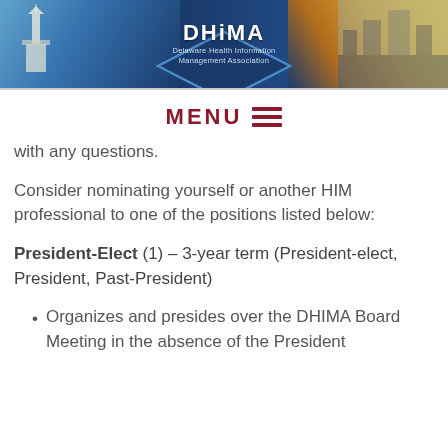[Figure (logo): DHiMA - Delaware Health Information Management Association banner header with lighthouse, church, city skyline and Delaware state flag imagery]
MENU ≡
with any questions.
Consider nominating yourself or another HIM professional to one of the positions listed below:
President-Elect (1) – 3-year term (President-elect, President, Past-President)
Organizes and presides over the DHIMA Board Meeting in the absence of the President